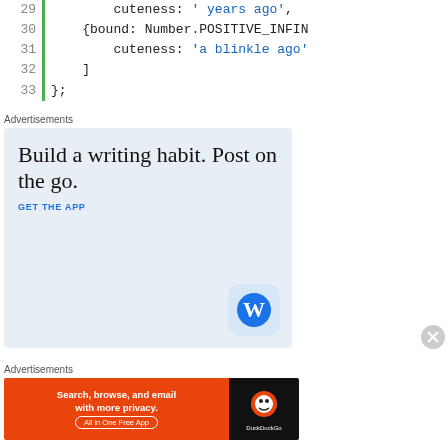[Figure (screenshot): Code snippet showing lines 29-33 of JavaScript with line numbers and green bar on left. Lines show: cuteness: ' years ago', {bound: Number.POSITIVE_INFIN, cuteness: 'a blinkle ago', then closing bracket ] and };]
Advertisements
[Figure (screenshot): WordPress advertisement: 'Build a writing habit. Post on the go.' with GET THE APP link and WordPress logo on light blue background]
Advertisements
[Figure (screenshot): DuckDuckGo advertisement: 'Search, browse, and email with more privacy. All in One Free App' on orange background with DuckDuckGo logo]